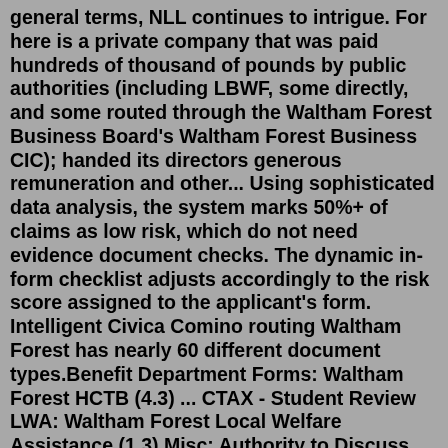general terms, NLL continues to intrigue. For here is a private company that was paid hundreds of thousand of pounds by public authorities (including LBWF, some directly, and some routed through the Waltham Forest Business Board's Waltham Forest Business CIC); handed its directors generous remuneration and other... Using sophisticated data analysis, the system marks 50%+ of claims as low risk, which do not need evidence document checks. The dynamic in-form checklist adjusts accordingly to the risk score assigned to the applicant's form. Intelligent Civica Comino routing Waltham Forest has nearly 60 different document types.Benefit Department Forms: Waltham Forest HCTB (4.3) ... CTAX - Student Review LWA: Waltham Forest Local Welfare Assistance (1.3) Misc: Authority to Discuss Form: CTS Only Application Form (1.0) Discretionary Housing Payments Claim (1.1) DWP Benefit Ended: Evidence Upload Form (1.0) HBCTS Appeals (1.0) HCTB Change in Circumstances (1.1 Help to Claim is a dedicated service from Citizens